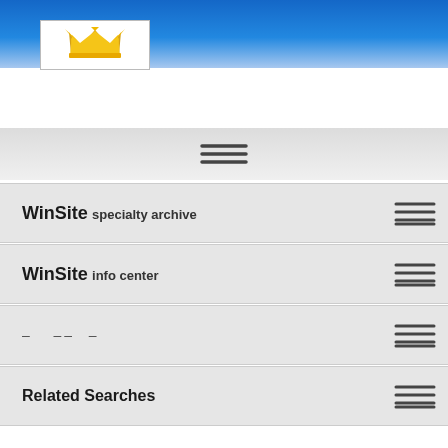[Figure (logo): WinSite crown/logo icon in white box on blue banner header]
WinSite specialty archive | WinSite info center | Related Searches
WinSite specialty archive
WinSite info center
– -- –
Related Searches
Galaxy Gold Login Software
Ares Gold  v.2.03